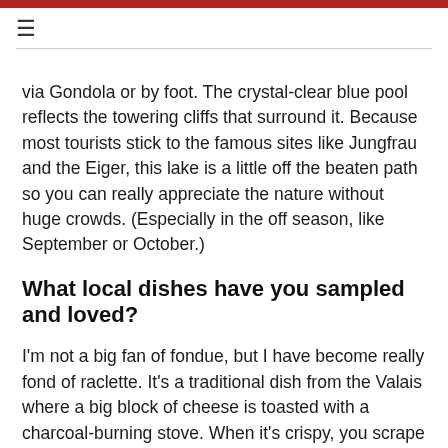≡
via Gondola or by foot. The crystal-clear blue pool reflects the towering cliffs that surround it. Because most tourists stick to the famous sites like Jungfrau and the Eiger, this lake is a little off the beaten path so you can really appreciate the nature without huge crowds. (Especially in the off season, like September or October.)
What local dishes have you sampled and loved?
I'm not a big fan of fondue, but I have become really fond of raclette. It's a traditional dish from the Valais where a big block of cheese is toasted with a charcoal-burning stove. When it's crispy, you scrape the melted part onto a plate filled with charcuterie, potatoes and miniature pickles. It's a bit like fondue, but much more fun (and tasty!) in my opinion.